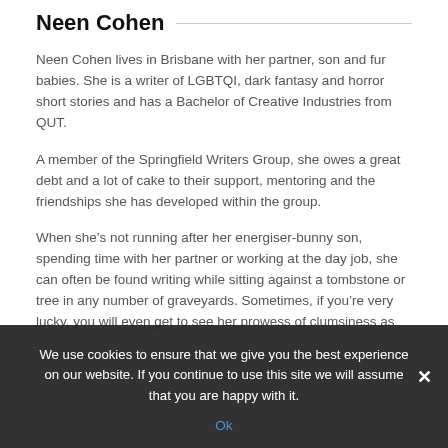Neen Cohen
Neen Cohen lives in Brisbane with her partner, son and fur babies. She is a writer of LGBTQI, dark fantasy and horror short stories and has a Bachelor of Creative Industries from QUT.
A member of the Springfield Writers Group, she owes a great debt and a lot of cake to their support, mentoring and the friendships she has developed within the group.
When she’s not running after her energiser-bunny son, spending time with her partner or working at the day job, she can often be found writing while sitting against a tombstone or tree in any number of graveyards. Sometimes, if you’re very lucky, you will even get to see her prowess of clumsiness as she…
We use cookies to ensure that we give you the best experience on our website. If you continue to use this site we will assume that you are happy with it.
Ok